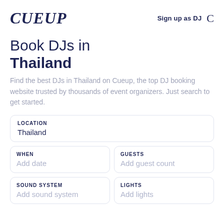CUEUP — Sign up as DJ
Book DJs in Thailand
Find the best DJs in Thailand on Cueup, the top DJ booking website trusted by thousands of event organizers. Just search to get started.
LOCATION
Thailand
WHEN
Add date
GUESTS
Add guest count
SOUND SYSTEM
Add sound system
LIGHTS
Add lights